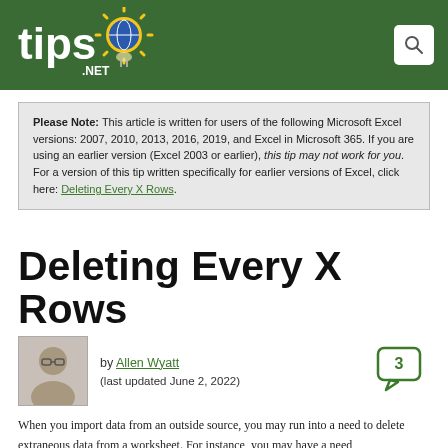tips.net
Please Note: This article is written for users of the following Microsoft Excel versions: 2007, 2010, 2013, 2016, 2019, and Excel in Microsoft 365. If you are using an earlier version (Excel 2003 or earlier), this tip may not work for you. For a version of this tip written specifically for earlier versions of Excel, click here: Deleting Every X Rows.
Deleting Every X Rows
by Allen Wyatt (last updated June 2, 2022)
When you import data from an outside source, you may run into a need to delete extraneous data from a worksheet. For instance, you may have a need